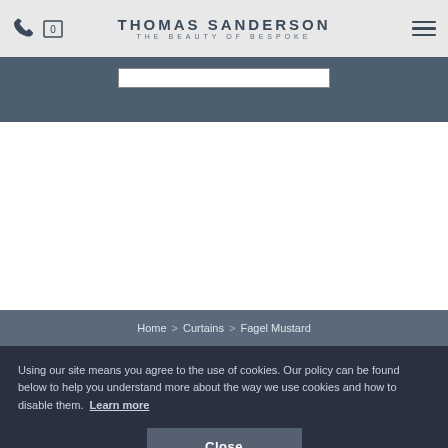THOMAS SANDERSON — THE BEAUTY OF BESPOKE
Home > Curtains > Fagel Mustard
Using our site means you agree to the use of cookies. Our policy can be found below to help you understand more about the way we use cookies and how to disable them. Learn more
Close